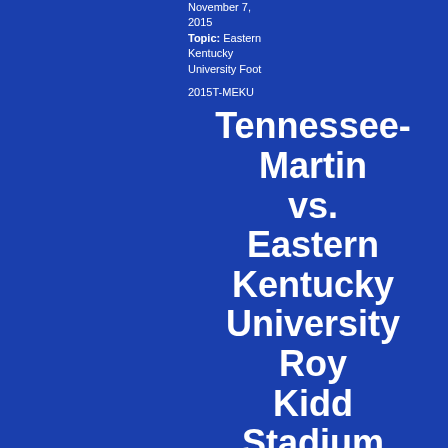November 7, 2015
Topic: Eastern Kentucky University Foot
2015T-MEKU
Tennessee-Martin vs. Eastern Kentucky University Roy Kidd Stadium
Eastern Kentucky University Richmond, KY November 7, 2015
© 2015 by Ron Harrison
Eastern